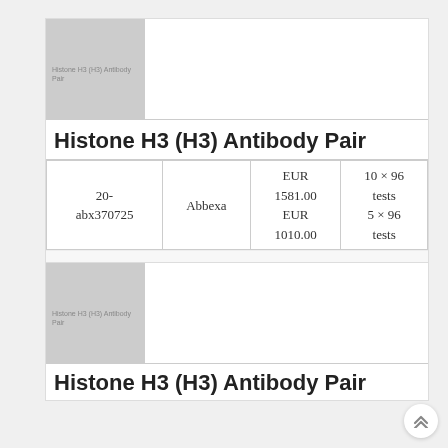[Figure (photo): Product image placeholder for Histone H3 (H3) Antibody Pair, gray rectangle with label text]
Histone H3 (H3) Antibody Pair
| ID | Brand | Price | Size |
| --- | --- | --- | --- |
| 20-abx370725 | Abbexa | EUR 1581.00 EUR 1010.00 | 10 × 96 tests 5 × 96 tests |
[Figure (photo): Second product image placeholder for Histone H3 (H3) Antibody Pair, gray rectangle with label text]
Histone H3 (H3) Antibody Pair